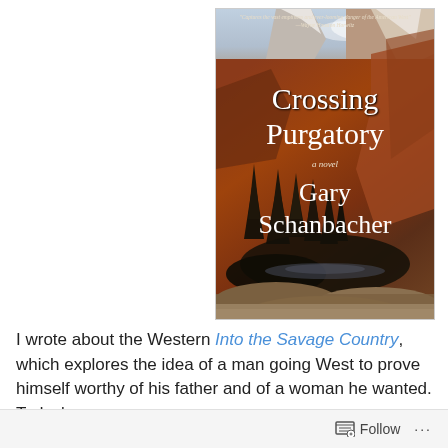[Figure (photo): Book cover of 'Crossing Purgatory' a novel by Gary Schanbacher. Features a dramatic Western landscape with red rock mountains, pine trees, and rocky foreground. White serif text for title and author name. A quote at top reads 'Captures the vast emptiness and ever-looming danger of the American West' — Wayne Houston Horwitz.]
I wrote about the Western Into the Savage Country, which explores the idea of a man going West to prove himself worthy of his father and of a woman he wanted. Today's